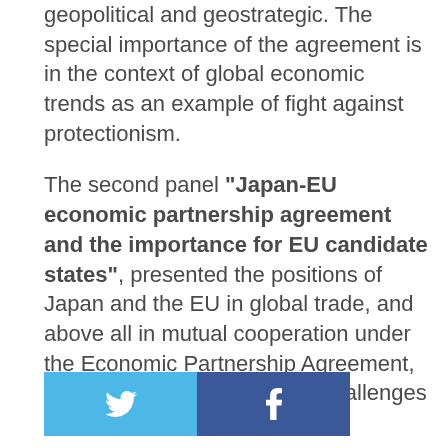geopolitical and geostrategic. The special importance of the agreement is in the context of global economic trends as an example of fight against protectionism.

The second panel "Japan-EU economic partnership agreement and the importance for EU candidate states", presented the positions of Japan and the EU in global trade, and above all in mutual cooperation under the Economic Partnership Agreement, as well as opportunities and challenges for Serbia
[Figure (other): Social media sharing buttons: Twitter (blue) and Facebook (dark blue)]